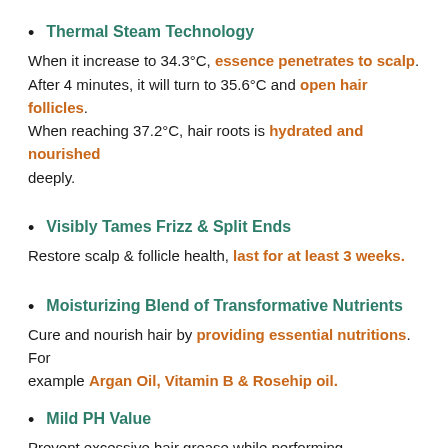Thermal Steam Technology
When it increase to 34.3°C, essence penetrates to scalp. After 4 minutes, it will turn to 35.6°C and open hair follicles. When reaching 37.2°C, hair roots is hydrated and nourished deeply.
Visibly Tames Frizz & Split Ends
Restore scalp & follicle health, last for at least 3 weeks.
Moisturizing Blend of Transformative Nutrients
Cure and nourish hair by providing essential nutritions. For example Argan Oil, Vitamin B & Rosehip oil.
Mild PH Value
Prevent excessive hair grease while performing